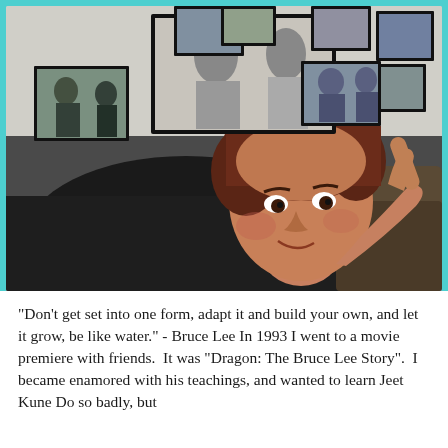[Figure (photo): A woman with short brown hair lying on a dark couch pointing at the camera with a smile. Behind her on the wall are multiple framed photos/posters related to martial arts and Bruce Lee.]
"Don't get set into one form, adapt it and build your own, and let it grow, be like water." - Bruce Lee In 1993 I went to a movie premiere with friends.  It was "Dragon: The Bruce Lee Story".  I became enamored with his teachings, and wanted to learn Jeet Kune Do so badly, but